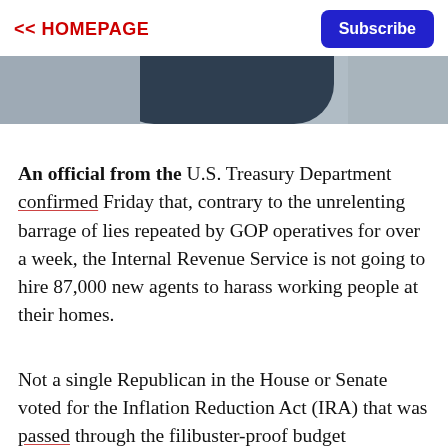<< HOMEPAGE | Subscribe
[Figure (photo): Partial view of a person in dark clothing, cropped, used as article header photo]
An official from the U.S. Treasury Department confirmed Friday that, contrary to the unrelenting barrage of lies repeated by GOP operatives for over a week, the Internal Revenue Service is not going to hire 87,000 new agents to harass working people at their homes.
Not a single Republican in the House or Senate voted for the Inflation Reduction Act (IRA) that was passed through the filibuster-proof budget reconciliation process last week and signed into law by President Joe Biden on Tuesday, choosing instead to condemn the package's relatively